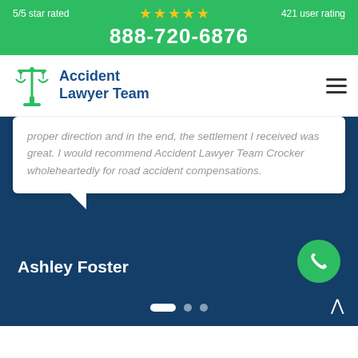5/5 star rated ★★★★★ 421 user rating 888-720-6876
[Figure (logo): Accident Lawyer Team logo with green scales of justice icon and blue text]
proper direction and in the end, the settlement I received was great. I would recommend Accident Lawyer Team Crocker wholeheartedly for road accident compensations.
Ashley Foster